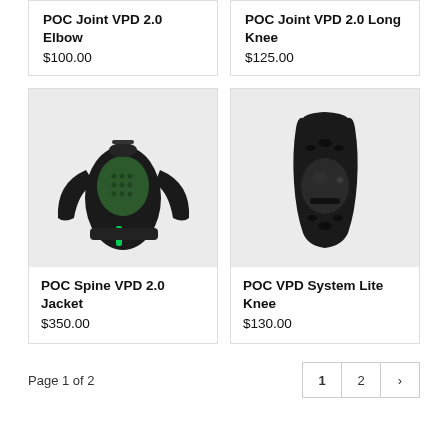POC Joint VPD 2.0 Elbow
$100.00
POC Joint VPD 2.0 Long Knee
$125.00
[Figure (photo): Black protective cycling jacket with dark green dotted back panel and a green stripe on the lower back - POC Spine VPD 2.0 Jacket]
POC Spine VPD 2.0 Jacket
$350.00
[Figure (photo): Black knee pad/guard with ventilation holes on a white background - POC VPD System Lite Knee]
POC VPD System Lite Knee
$130.00
Page 1 of 2